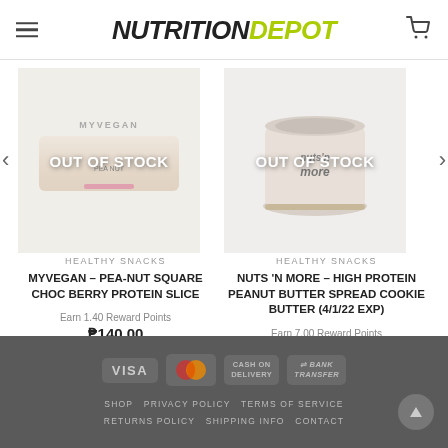NUTRITION DEPOT
[Figure (screenshot): Product listing page for Nutrition Depot showing two out-of-stock healthy snack products with prices and reward points]
HEALTHY SNACKS
MYVEGAN – PEA-NUT SQUARE CHOC BERRY PROTEIN SLICE
Earn 1.40 Reward Points
₱140.00
HEALTHY SNACKS
NUTS 'N MORE – HIGH PROTEIN PEANUT BUTTER SPREAD COOKIE BUTTER (4/1/22 EXP)
Earn 7.00 Reward Points
₱700.00
VISA  MasterCard  CASH ON DELIVERY  BANK TRANSFER
SHOP  PRIVACY POLICY  TERMS OF SERVICE  RETURNS POLICY  SHIPPING INFO  CONTACT